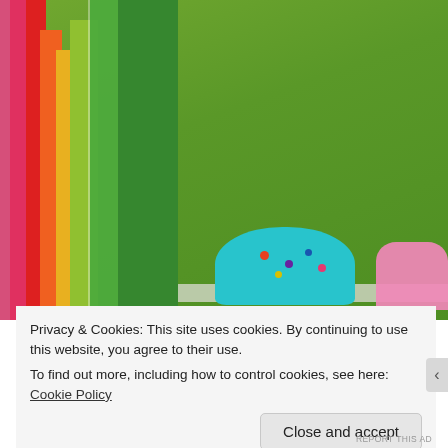[Figure (photo): Close-up photo of a colorful rainbow-striped bottle or container with layered colored sections (pink, red, orange, yellow, green shades) set against a blurred green grass background. In the bottom right, a blue-frosted cookie or cupcake with colorful sprinkles and a pink item are visible on a surface.]
Privacy & Cookies: This site uses cookies. By continuing to use this website, you agree to their use.
To find out more, including how to control cookies, see here: Cookie Policy
Close and accept